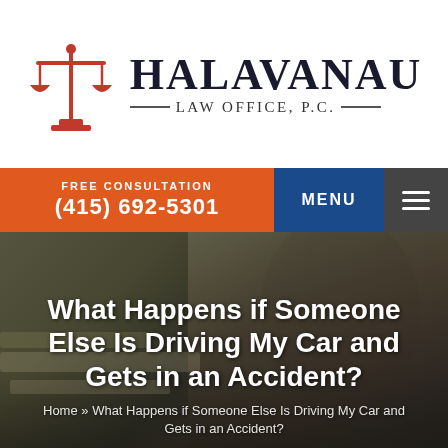[Figure (logo): Halavanau Law Office P.C. logo with red scales of justice icon and serif text]
FREE CONSULTATION
(415) 692-5301
MENU
[Figure (photo): Dark blurred background photo of a lawyer at a desk writing]
What Happens if Someone Else Is Driving My Car and Gets in an Accident?
Home » What Happens if Someone Else Is Driving My Car and Gets in an Accident?